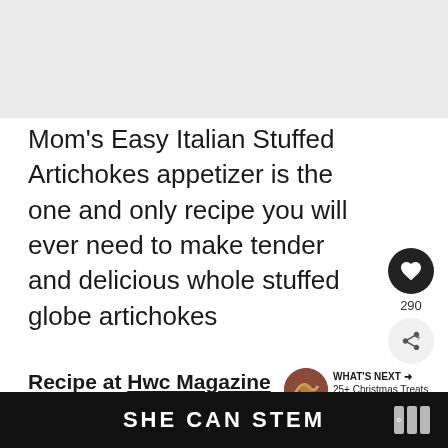[Figure (photo): Light gray rectangular area at the top of the page, likely a placeholder for an image]
Mom's Easy Italian Stuffed Artichokes appetizer is the one and only recipe you will ever need to make tender and delicious whole stuffed globe artichokes
Recipe at Hwc Magazine
#5 Caponata Alla Siciliana
SHE CAN STEM